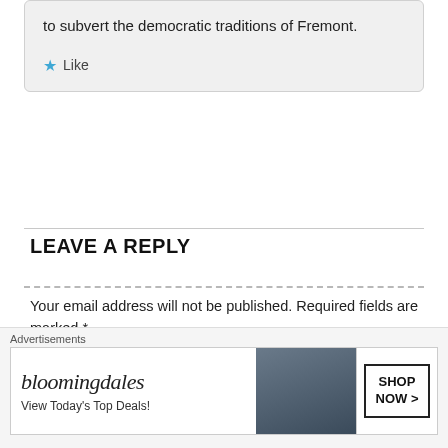to subvert the democratic traditions of Fremont.
Like
LEAVE A REPLY
Your email address will not be published. Required fields are marked *
Comment *
Advertisements
[Figure (other): Bloomingdale's advertisement banner with 'View Today's Top Deals!' and 'SHOP NOW >' button, featuring a woman with a large hat.]